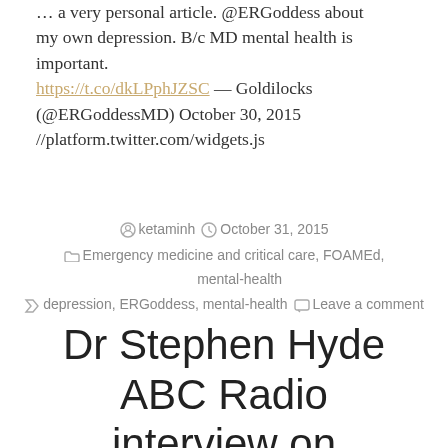... a very personal article. @ERGoddess about my own depression. B/c MD mental health is important. https://t.co/dkLPphJZSC — Goldilocks (@ERGoddessMD) October 30, 2015 //platform.twitter.com/widgets.js
ketamineh   October 31, 2015   Emergency medicine and critical care, FOAMEd, mental-health   depression, ERGoddess, mental-health   Leave a comment
Dr Stephen Hyde ABC Radio interview on ketamine for depression